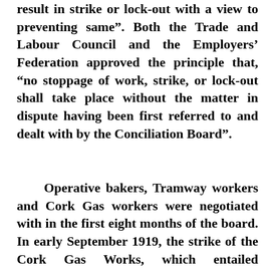result in strike or lock-out with a view to preventing same". Both the Trade and Labour Council and the Employers’ Federation approved the principle that, “no stoppage of work, strike, or lock-out shall take place without the matter in dispute having been first referred to and dealt with by the Conciliation Board”.
Operative bakers, Tramway workers and Cork Gas workers were negotiated with in the first eight months of the board. In early September 1919, the strike of the Cork Gas Works, which entailed considerable loss and serious inconvenience to the public, was